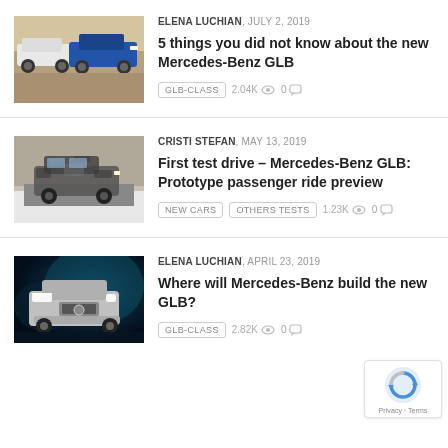[Figure (photo): Two Mercedes-Benz GLB SUVs driving on sandy terrain, one white and one blue]
ELENA LUCHIAN, JULY 2, 2019
5 things you did not know about the new Mercedes-Benz GLB
GLB-CLASS  2.04K  0
[Figure (photo): Camouflaged Mercedes-Benz GLB prototype SUV during winter testing on snowy road]
CRISTI STEFAN, MAY 13, 2019
First test drive – Mercedes-Benz GLB: Prototype passenger ride preview
NEW CARS  OTHERS TESTS  1.23K  0
[Figure (photo): Silver Mercedes-Benz GLB SUV studio photo with blue-teal background lighting]
ELENA LUCHIAN, APRIL 23, 2019
Where will Mercedes-Benz build the new GLB?
GLB-CLASS  2.82K  0